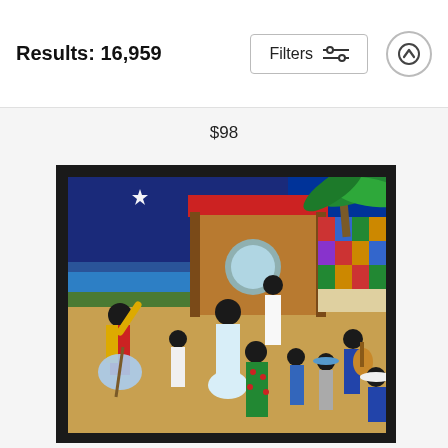Results: 16,959
Filters
$98
[Figure (illustration): A colorful folk-art painting depicting a community gathering scene with multiple figures dancing, playing guitar, and celebrating near a wooden building with a red roof. A bright star shines in a dark blue night sky. A large patterned quilt hangs on the right. Palm fronds are visible. Scene is framed in a black mat/frame.]